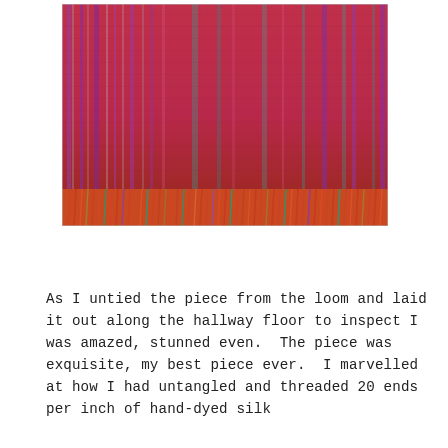[Figure (photo): Close-up photograph of a woven textile piece on a loom, showing vibrant red, pink, purple, and teal/green stripes with fringe visible at the bottom edge. The weave has a fine texture with colorful vertical striped patterns.]
As I untied the piece from the loom and laid it out along the hallway floor to inspect I was amazed, stunned even.  The piece was exquisite, my best piece ever.  I marvelled at how I had untangled and threaded 20 ends per inch of hand-dyed silk